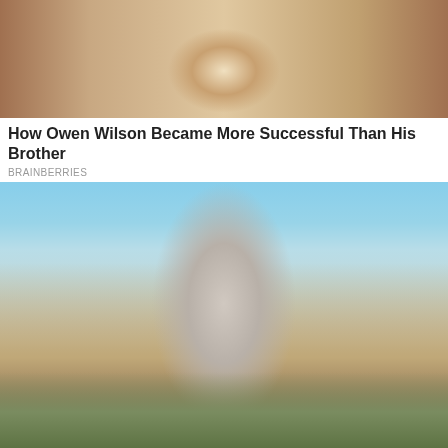[Figure (photo): Photo of Owen Wilson with braids, partial view of upper body]
How Owen Wilson Became More Successful Than His Brother
BRAINBERRIES
[Figure (photo): Fitness woman in white crop top and olive high-waisted leggings posing outdoors against trees and sky background]
Feel Better In Your Body: Easy Workout Moves